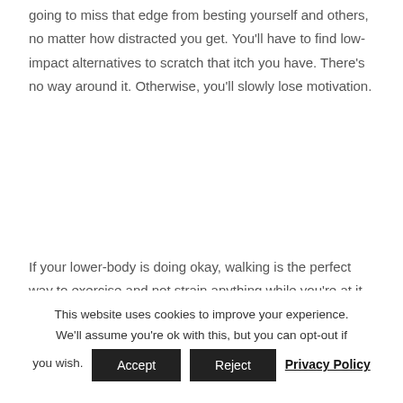going to miss that edge from besting yourself and others, no matter how distracted you get. You'll have to find low-impact alternatives to scratch that itch you have. There's no way around it. Otherwise, you'll slowly lose motivation.
If your lower-body is doing okay, walking is the perfect way to exercise and not strain anything while you're at it. You can also try
This website uses cookies to improve your experience. We'll assume you're ok with this, but you can opt-out if you wish. Accept Reject Privacy Policy